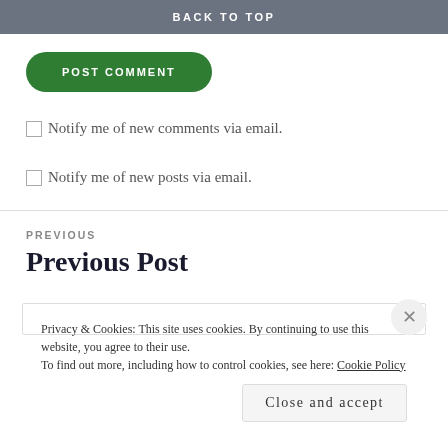BACK TO TOP
POST COMMENT
Notify me of new comments via email.
Notify me of new posts via email.
PREVIOUS
Previous Post
Privacy & Cookies: This site uses cookies. By continuing to use this website, you agree to their use.
To find out more, including how to control cookies, see here: Cookie Policy
Close and accept